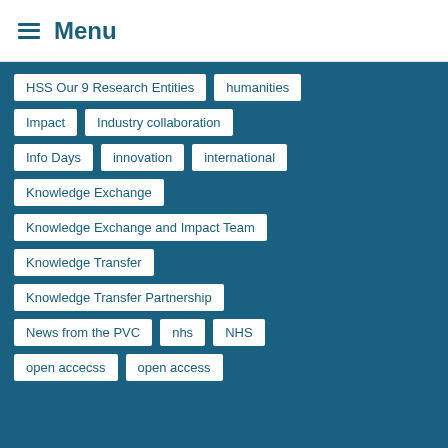Menu
HSS Our 9 Research Entities
humanities
Impact
Industry collaboration
Info Days
innovation
international
Knowledge Exchange
Knowledge Exchange and Impact Team
Knowledge Transfer
Knowledge Transfer Partnership
News from the PVC
nhs
NHS
open accecss
open access